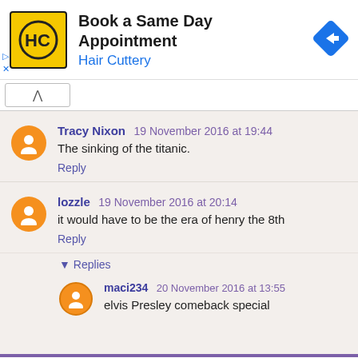[Figure (infographic): Hair Cuttery advertisement banner: yellow logo with HC letters, text 'Book a Same Day Appointment' and 'Hair Cuttery' in blue, blue diamond navigation arrow icon on right]
Tracy Nixon  19 November 2016 at 19:44
The sinking of the titanic.
Reply
lozzle  19 November 2016 at 20:14
it would have to be the era of henry the 8th
Reply
▾ Replies
maci234  20 November 2016 at 13:55
elvis Presley comeback special